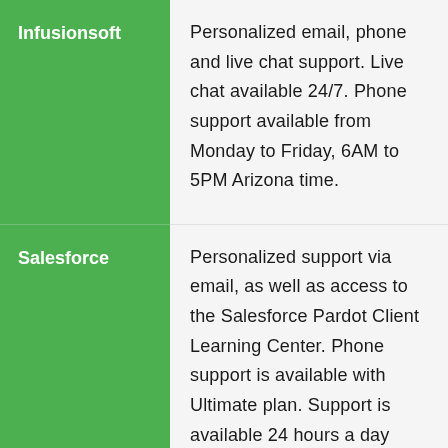| Company | Support Description |
| --- | --- |
| Infusionsoft | Personalized email, phone and live chat support. Live chat available 24/7. Phone support available from Monday to Friday, 6AM to 5PM Arizona time. |
| Salesforce | Personalized support via email, as well as access to the Salesforce Pardot Client Learning Center. Phone support is available with Ultimate plan. Support is available 24 hours a day from Monday to Friday, ending at 8PM EST on Friday evening. |